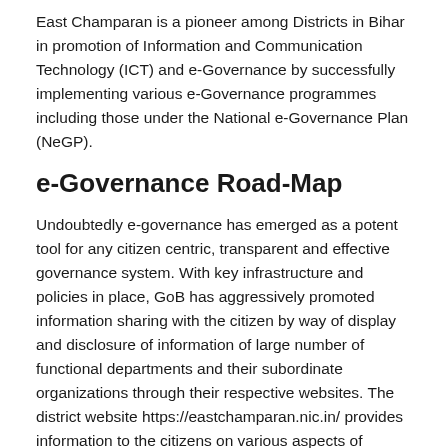East Champaran is a pioneer among Districts in Bihar in promotion of Information and Communication Technology (ICT) and e-Governance by successfully implementing various e-Governance programmes including those under the National e-Governance Plan (NeGP).
e-Governance Road-Map
Undoubtedly e-governance has emerged as a potent tool for any citizen centric, transparent and effective governance system. With key infrastructure and policies in place, GoB has aggressively promoted information sharing with the citizen by way of display and disclosure of information of large number of functional departments and their subordinate organizations through their respective websites. The district website https://eastchamparan.nic.in/ provides information to the citizens on various aspects of governance.
The District Administration of East Champaran has aligned itself to the NeGP vision of "Making all Government services